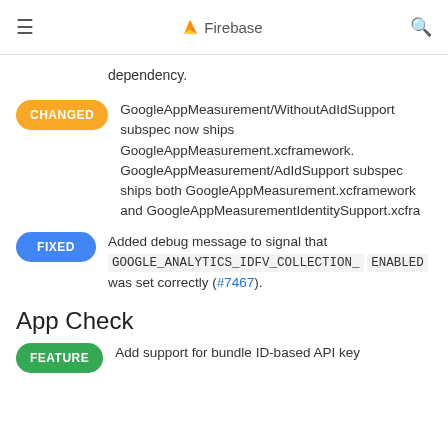Firebase
dependency.
CHANGED — GoogleAppMeasurement/WithoutAdIdSupport subspec now ships GoogleAppMeasurement.xcframework. GoogleAppMeasurement/AdIdSupport subspec ships both GoogleAppMeasurement.xcframework and GoogleAppMeasurementIdentitySupport.xcframework
FIXED — Added debug message to signal that GOOGLE_ANALYTICS_IDFV_COLLECTION_ENABLED was set correctly (#7467).
App Check
FEATURE — Add support for bundle ID-based API key